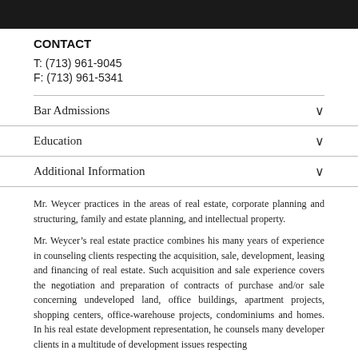[Figure (photo): Dark photograph banner at top of page]
CONTACT
T: (713) 961-9045
F: (713) 961-5341
Bar Admissions
Education
Additional Information
Mr. Weycer practices in the areas of real estate, corporate planning and structuring, family and estate planning, and intellectual property.
Mr. Weycer’s real estate practice combines his many years of experience in counseling clients respecting the acquisition, sale, development, leasing and financing of real estate. Such acquisition and sale experience covers the negotiation and preparation of contracts of purchase and/or sale concerning undeveloped land, office buildings, apartment projects, shopping centers, office-warehouse projects, condominiums and homes. In his real estate development representation, he counsels many developer clients in a multitude of development issues respecting subdivision, building and land use requirements, office building and